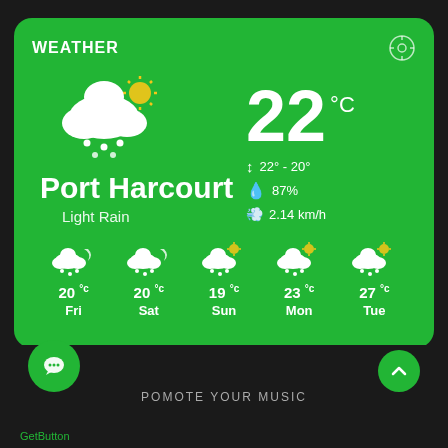[Figure (screenshot): Weather app widget showing Port Harcourt weather: 22°C, Light Rain, with 5-day forecast for Fri-Tue]
WEATHER
22 °C
Port Harcourt
Light Rain
22° - 20°
87%
2.14 km/h
20 °c Fri
20 °c Sat
19 °c Sun
23 °c Mon
27 °c Tue
POMOTE YOUR MUSIC
GetButton